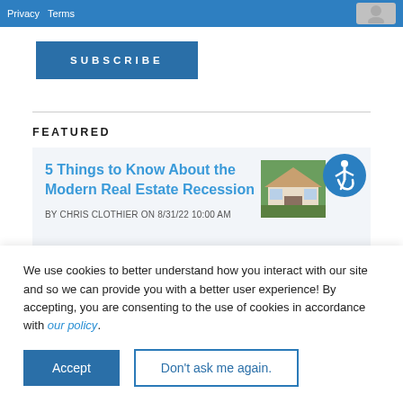[Figure (screenshot): Top blue banner bar with Privacy and Terms text links, and a gray user/avatar icon on the right]
[Figure (screenshot): Blue SUBSCRIBE button]
FEATURED
[Figure (photo): Featured article card with title '5 Things to Know About the Modern Real Estate Recession', a house photo thumbnail, and accessibility icon]
BY CHRIS CLOTHIER ON 8/31/22 10:00 AM
We use cookies to better understand how you interact with our site and so we can provide you with a better user experience! By accepting, you are consenting to the use of cookies in accordance with our policy.
[Figure (screenshot): Accept button (blue filled) and Don't ask me again button (blue outlined)]